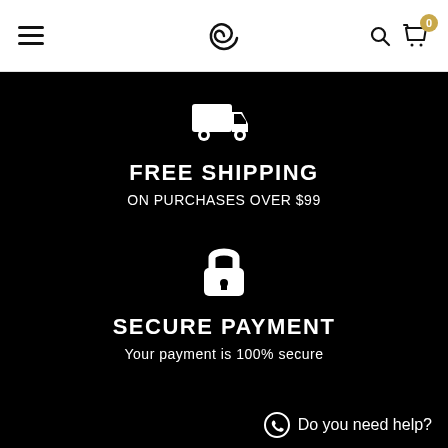Navigation header with hamburger menu, spiral logo, search icon, and cart with 0 items
[Figure (illustration): White delivery truck icon on black background]
FREE SHIPPING
ON PURCHASES OVER $99
[Figure (illustration): White padlock/lock icon on black background]
SECURE PAYMENT
Your payment is 100% secure
Do you need help?